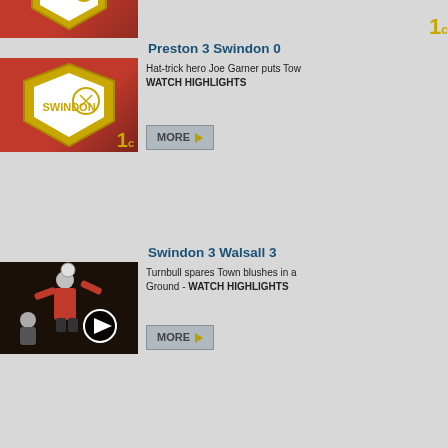[Figure (screenshot): Partial top entry with Swindon Town badge thumbnail and MORE button]
Preston 3 Swindon 0
[Figure (photo): Swindon Town badge on red background]
Hat-trick hero Joe Garner puts Tow
WATCH HIGHLIGHTS
Swindon 3 Walsall 3
[Figure (photo): Action photo of player heading ball with play button overlay]
Turnbull spares Town blushes in a Ground - WATCH HIGHLIGHTS
Swindon 0 Yeovil 1
Fjortoft flies in. Sturrock parks the - WATCH HIGHLIGHTS + MATCH
Rochdale 2 Swindon 4
Hat-trick hero! Ben Gladwin secure masterclass - WATCH HIGHLIGHT